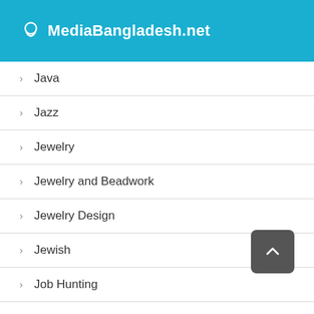MediaBangladesh.net
Java
Jazz
Jewelry
Jewelry and Beadwork
Jewelry Design
Jewish
Job Hunting
Job Hunting and Careers
Joint Sealants
Journal Writing